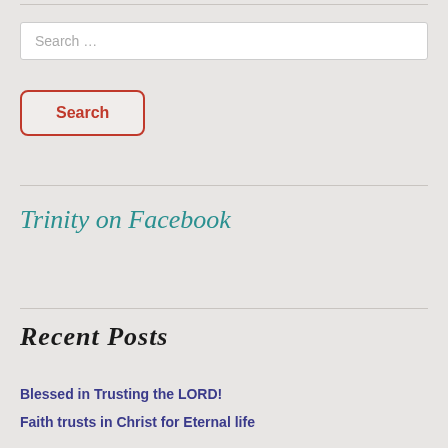Search …
Search
Trinity on Facebook
Recent Posts
Blessed in Trusting the LORD!
Faith trusts in Christ for Eternal life
...